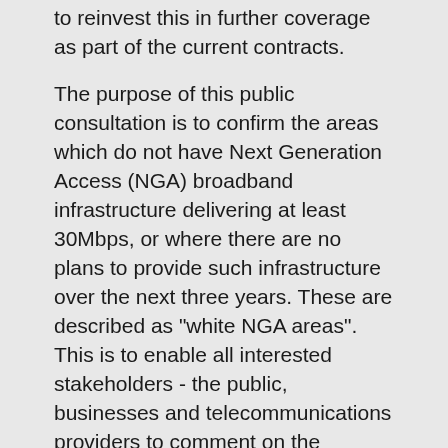to reinvest this in further coverage as part of the current contracts.
The purpose of this public consultation is to confirm the areas which do not have Next Generation Access (NGA) broadband infrastructure delivering at least 30Mbps, or where there are no plans to provide such infrastructure over the next three years. These are described as "white NGA areas". This is to enable all interested stakeholders - the public, businesses and telecommunications providers to comment on the proposed white NGA areas before further coverage is committed.
We will then submit our final proposals for the NGA white area, taking account of the outcome of the public consultation, to BDUK's National Competence Centre for clearance.
If you have any questions, please